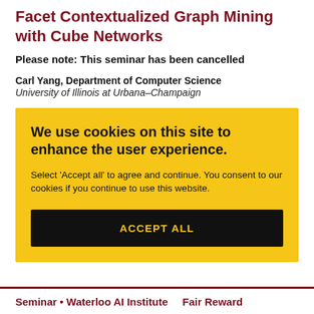Facet Contextualized Graph Mining with Cube Networks
Please note: This seminar has been cancelled
Carl Yang, Department of Computer Science
University of Illinois at Urbana–Champaign
We use cookies on this site to enhance the user experience.

Select 'Accept all' to agree and continue. You consent to our cookies if you continue to use this website.

ACCEPT ALL
Seminar • Waterloo AI Institute    Fair Reward